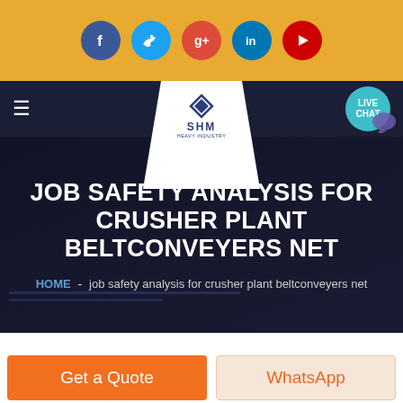Social media icons: Facebook, Twitter, Google+, LinkedIn, YouTube
[Figure (screenshot): Website navigation bar with hamburger menu, SHM logo, and Live Chat button]
JOB SAFETY ANALYSIS FOR CRUSHER PLANT BELTCONVEYERS NET
HOME - job safety analysis for crusher plant beltconveyers net
Get a Quote | WhatsApp